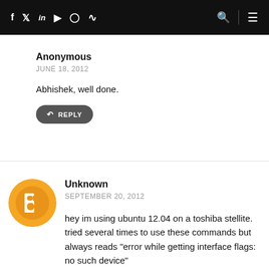Social media icons and navigation bar
Anonymous
JUNE 18, 2012
Abhishek, well done.
REPLY
[Figure (illustration): Blogger/Unknown user avatar - orange circle with white B letter icon]
Unknown
SEPTEMBER 20, 2012
hey im using ubuntu 12.04 on a toshiba stellite. tried several times to use these commands but always reads "error while getting interface flags: no such device"